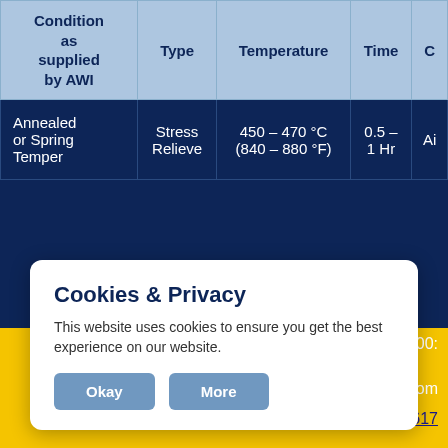| Condition as supplied by AWI | Type | Temperature | Time | C |
| --- | --- | --- | --- | --- |
| Annealed or Spring Temper | Stress Relieve | 450 – 470 °C (840 – 880 °F) | 0.5 – 1 Hr | Ai |
of Incoloy® 800:
available from
onel® 617
Cookies & Privacy
This website uses cookies to ensure you get the best experience on our website.